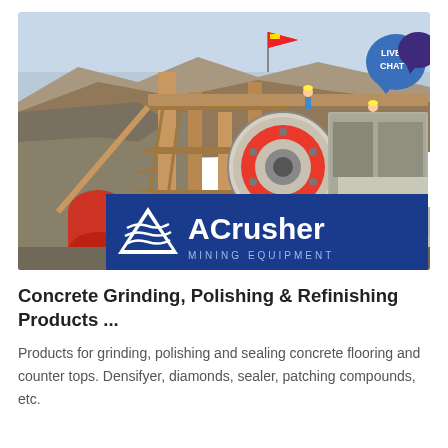[Figure (photo): Industrial mining/crushing equipment at a quarry site with workers on scaffolding, large red flywheel visible, with ACrusher Mining Equipment logo overlay at bottom]
Concrete Grinding, Polishing & Refinishing Products ...
Products for grinding, polishing and sealing concrete flooring and counter tops. Densifyer, diamonds, sealer, patching compounds, etc.